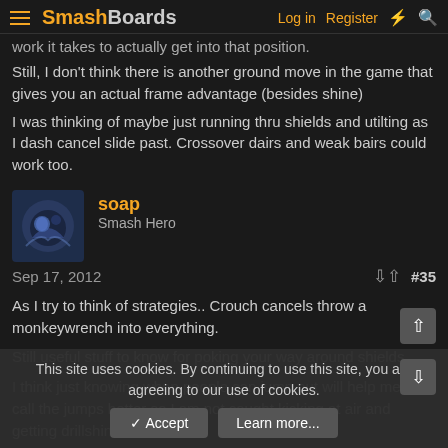SmashBoards — Log in  Register
work it takes to actually get into that position.
Still, I don't think there is another ground move in the game that gives you an actual frame advantage (besides shine)
I was thinking of maybe just running thru shields and utilting as I dash cancel slide past. Crossover dairs and weak bairs could work too.
soap
Smash Hero
Sep 17, 2012  #35
As I try to think of strategies.. Crouch cancels throw a monkeywrench into everything.
Still useful stuff to know for poking your way around shields.
I think just knowing when people can jump out will help me to call the jumps better so I am not caught kicking at air and getting drillshined.
This site uses cookies. By continuing to use this site, you are agreeing to our use of cookies.